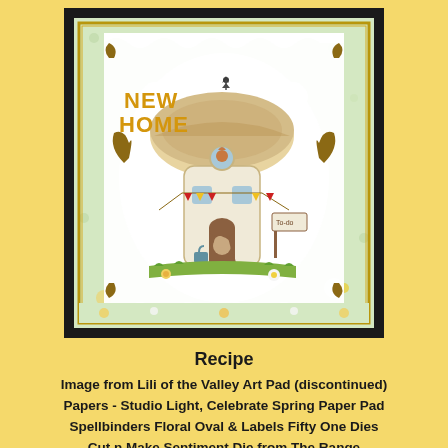[Figure (photo): A handmade greeting card featuring a mushroom house illustration with 'NEW HOME' text in gold, a mouse character at the door, bunting decorations, surrounded by a decorative white die-cut frame with gold flourishes, mounted on a patterned paper background with flowers. The card is displayed against a white scalloped-edge background, all framed by a thick black border.]
Recipe
Image from Lili of the Valley Art Pad (discontinued)
Papers - Studio Light, Celebrate Spring Paper Pad
Spellbinders Floral Oval & Labels Fifty One Dies
Cut n Make Sentiment Die from The Range
Challenges I'd like to enter: